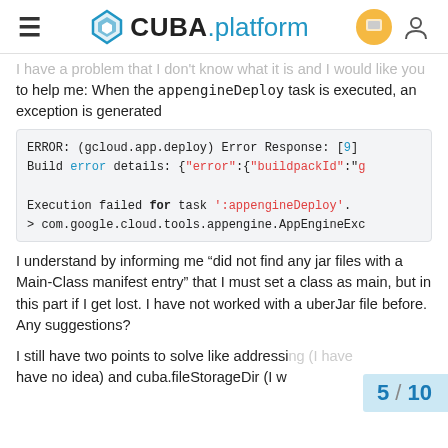CUBA.platform
I have a problem that I don't know what it is and I would like you to help me: When the appengineDeploy task is executed, an exception is generated
[Figure (screenshot): Code block showing error: ERROR: (gcloud.app.deploy) Error Response: [9] Build error details: {"error":{"buildpackId":"g... Execution failed for task ':appengineDeploy'. > com.google.cloud.tools.appengine.AppEngineExc...]
I understand by informing me “did not find any jar files with a Main-Class manifest entry” that I must set a class as main, but in this part if I get lost. I have not worked with a uberJar file before. Any suggestions?
I still have two points to solve like addressing (I have no idea) and cuba.fileStorageDir (I w... contribution of @more )